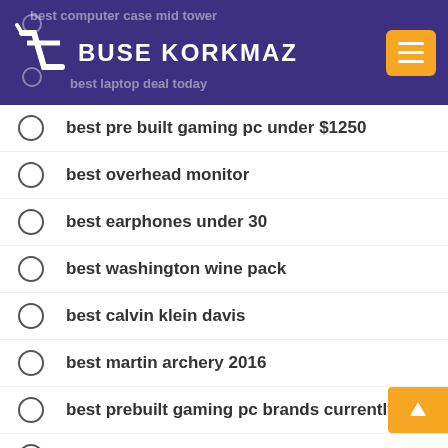[Figure (logo): Buse Korkmaz website header with logo (shopping cart icon) and hamburger menu button on purple background]
best pre built gaming pc under $1250
best overhead monitor
best earphones under 30
best washington wine pack
best calvin klein davis
best martin archery 2016
best prebuilt gaming pc brands currently
best walmart air purifier
best altitude hold nano drone
best cell phone camera lens kit